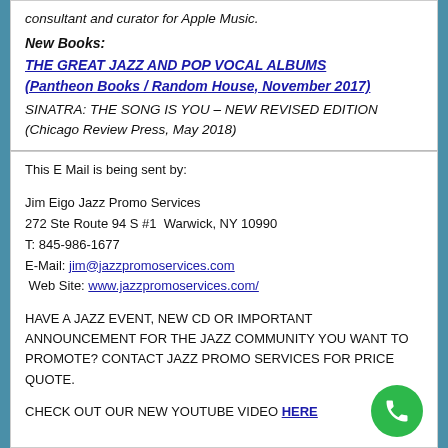consultant and curator for Apple Music.
New Books:
THE GREAT JAZZ AND POP VOCAL ALBUMS (Pantheon Books / Random House, November 2017)
SINATRA: THE SONG IS YOU – NEW REVISED EDITION (Chicago Review Press, May 2018)
This E Mail is being sent by:
Jim Eigo Jazz Promo Services
272 Ste Route 94 S #1  Warwick, NY 10990
T: 845-986-1677
E-Mail: jim@jazzpromoservices.com
Web Site: www.jazzpromoservices.com/
HAVE A JAZZ EVENT, NEW CD OR IMPORTANT ANNOUNCEMENT FOR THE JAZZ COMMUNITY YOU WANT TO PROMOTE? CONTACT JAZZ PROMO SERVICES FOR PRICE QUOTE.
CHECK OUT OUR NEW YOUTUBE VIDEO HERE